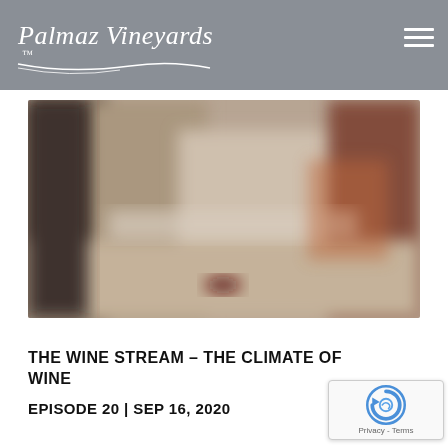Palmaz Vineyards
[Figure (photo): Blurred/out-of-focus image of a winery interior or barrel room with warm brown and beige tones]
THE WINE STREAM – THE CLIMATE OF WINE
EPISODE 20 | SEP 16, 2020